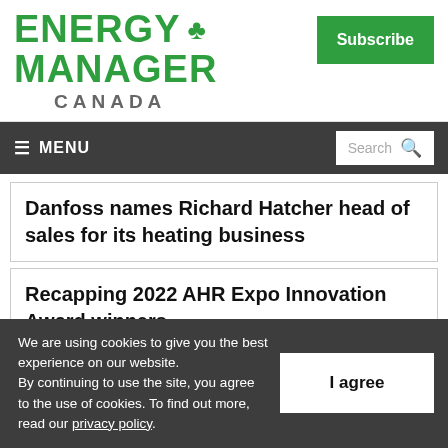[Figure (logo): Energy Manager Canada logo with green maple leaf icon]
Subscribe
≡ MENU   Search
Danfoss names Richard Hatcher head of sales for its heating business
Recapping 2022 AHR Expo Innovation Award winners
We are using cookies to give you the best experience on our website. By continuing to use the site, you agree to the use of cookies. To find out more, read our privacy policy.
I agree